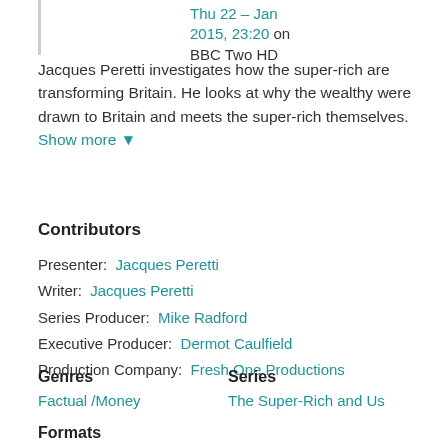Thu 22 Jan 2015, 23:20 on BBC Two HD
Jacques Peretti investigates how the super-rich are transforming Britain. He looks at why the wealthy were drawn to Britain and meets the super-rich themselves. Show more ▼
Contributors
Presenter: Jacques Peretti
Writer: Jacques Peretti
Series Producer: Mike Radford
Executive Producer: Dermot Caulfield
Production Company: Fresh One Productions
Genres
Factual / Money
Series
The Super-Rich and Us
Formats
Documentaries